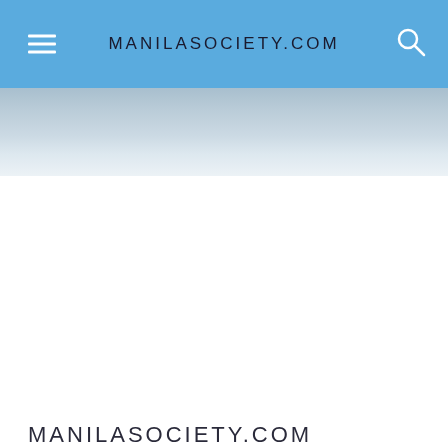MANILASOCIETY.COM
[Figure (photo): Light blue and grey gradient banner or sky photograph, partially visible below navigation bar]
MANILASOCIETY.COM